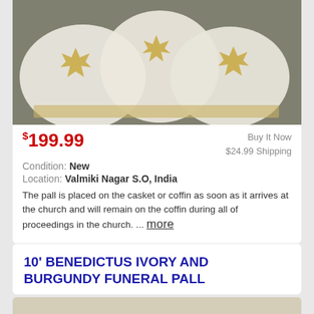[Figure (photo): Photo of white liturgical vestments/pall with gold cross embroidery symbols on a fabric background]
$199.99
Buy It Now
$24.99 Shipping
Condition: New
Location: Valmiki Nagar S.O, India
The pall is placed on the casket or coffin as soon as it arrives at the church and will remain on the coffin during all of proceedings in the church. ... more
10' BENEDICTUS IVORY AND BURGUNDY FUNERAL PALL
[Figure (photo): Partial photo of an ivory and burgundy funeral pall draped over a casket]